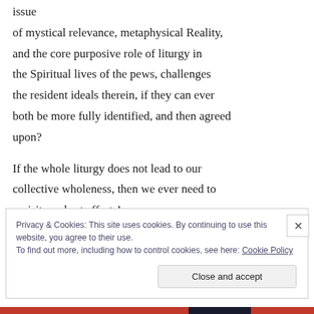issue of mystical relevance, metaphysical Reality, and the core purposive role of liturgy in the Spiritual lives of the pews, challenges the resident ideals therein, if they can ever both be more fully identified, and then agreed upon?

If the whole liturgy does not lead to our collective wholeness, then we ever need to revisit our best efforts!
Privacy & Cookies: This site uses cookies. By continuing to use this website, you agree to their use.
To find out more, including how to control cookies, see here: Cookie Policy